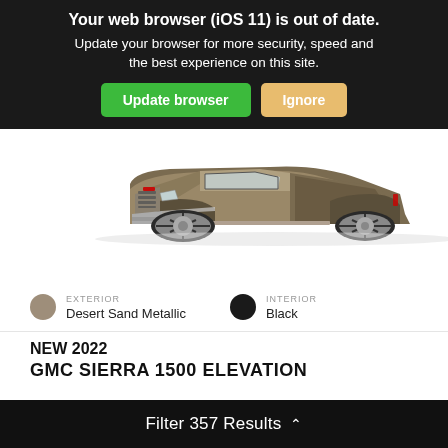Your web browser (iOS 11) is out of date.
Update your browser for more security, speed and the best experience on this site.
Update browser  Ignore
[Figure (photo): GMC Sierra truck in Desert Sand Metallic color, front three-quarter view, shown on white background]
EXTERIOR
Desert Sand Metallic
INTERIOR
Black
NEW 2022
Filter 357 Results ^